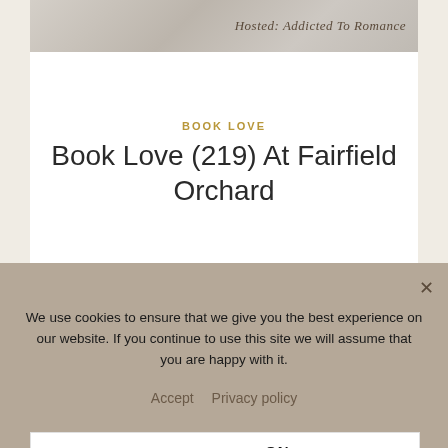[Figure (illustration): Top banner image with decorative script text 'Hosted: Addicted To Romance' on a blurred soft beige/taupe background]
BOOK LOVE
Book Love (219) At Fairfield Orchard
2 Comments
GEYBIE'S BOOK BLOG ON OCTOBER 22, 2015
We use cookies to ensure that we give you the best experience on our website. If you continue to use this site we will assume that you are happy with it.
Accept   Privacy policy